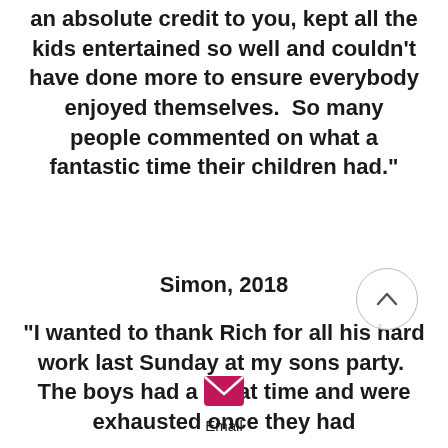an absolute credit to you, kept all the kids entertained so well and couldn't have done more to ensure everybody enjoyed themselves.  So many people commented on what a fantastic time their children had."
Simon, 2018
"I wanted to thank Rich for all his hard work last Sunday at my sons party.  The boys had a great time and were exhausted once they had
[Figure (other): Back/up navigation button - circular icon with upward chevron]
[Figure (other): Email icon - pink envelope]
Email